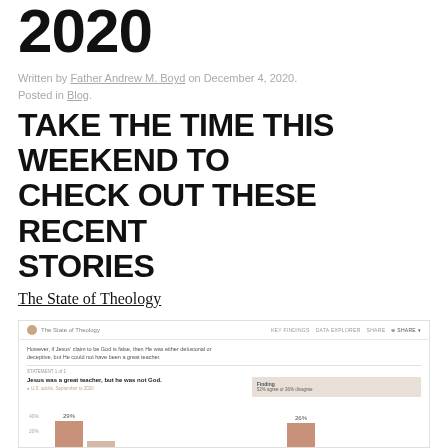2020
Written by Father Andrew M. Boyd on December 4, 2020. Posted in Blog.
TAKE THE TIME THIS WEEKEND TO CHECK OUT THESE RECENT STORIES
The State of Theology
[Figure (screenshot): Screenshot of The State of Theology website showing a survey question about Jesus being a great teacher but not God, with bar chart data below showing percentage responses. The question reads: 'However, if Jesus' claim to be God is false, then He was either delusional or deceptive, but He could not have been a great teacher.' Statement: 'Jesus was a great teacher, but he was not God.' Finding box shows '52% agree or 36% disagree'. Bar charts show approximately 29% and 26% bars in salmon/tan color.]